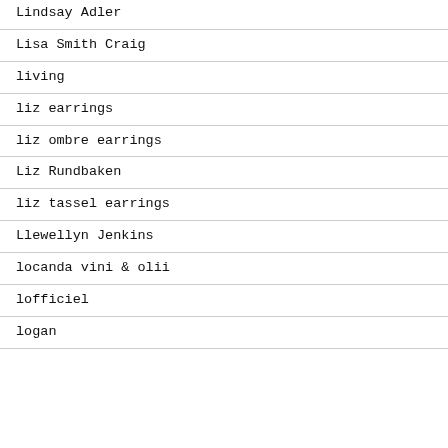Lindsay Adler
Lisa Smith Craig
living
liz earrings
liz ombre earrings
Liz Rundbaken
liz tassel earrings
Llewellyn Jenkins
locanda vini & olii
lofficiel
logan